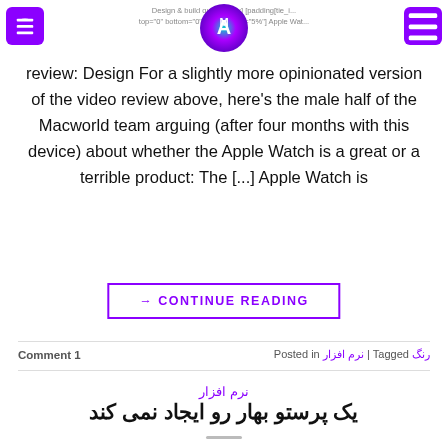Design & build qua... index] [padding[tie_i... top="0" bottom="0" rig...5%" left="5%"] Apple Wat...
review: Design For a slightly more opinionated version of the video review above, here's the male half of the Macworld team arguing (after four months with this device) about whether the Apple Watch is a great or a terrible product: The [...] Apple Watch is
→ CONTINUE READING
Posted in نرم افزار | Tagged رنگ    Comment 1
نرم افزار
یک پرستو بهار رو ایجاد نمی کند
POSTED ON 1398-07-05 BY MOJI